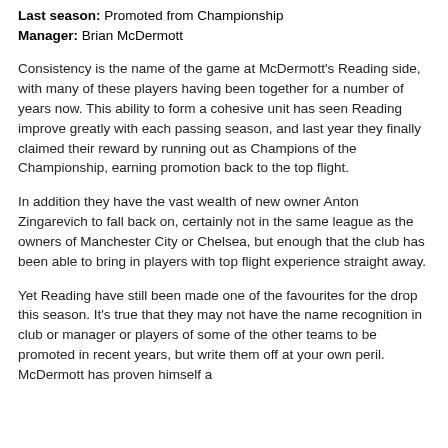Last season: Promoted from Championship
Manager: Brian McDermott
Consistency is the name of the game at McDermott's Reading side, with many of these players having been together for a number of years now. This ability to form a cohesive unit has seen Reading improve greatly with each passing season, and last year they finally claimed their reward by running out as Champions of the Championship, earning promotion back to the top flight.
In addition they have the vast wealth of new owner Anton Zingarevich to fall back on, certainly not in the same league as the owners of Manchester City or Chelsea, but enough that the club has been able to bring in players with top flight experience straight away.
Yet Reading have still been made one of the favourites for the drop this season. It's true that they may not have the name recognition in club or manager or players of some of the other teams to be promoted in recent years, but write them off at your own peril. McDermott has proven himself a